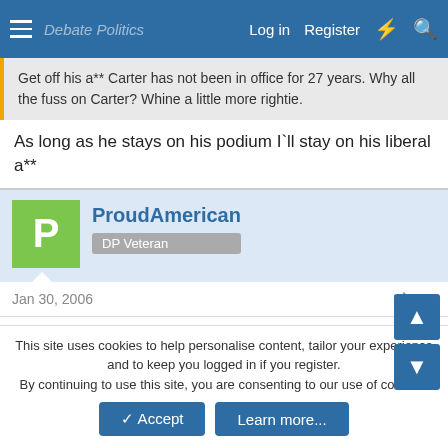Debate Politics — Log in  Register
Get off his a** Carter has not been in office for 27 years. Why all the fuss on Carter? Whine a little more rightie.
As long as he stays on his podium I`ll stay on his liberal a**
ProudAmerican
DP Veteran
Jan 30, 2006  #6
Jimmy Carter makes Bush look like a Harvord Grad.........oh wait.....Bush is a Harvord Grad.

Carter is a moron.
This site uses cookies to help personalise content, tailor your experience and to keep you logged in if you register.
By continuing to use this site, you are consenting to our use of cookies.